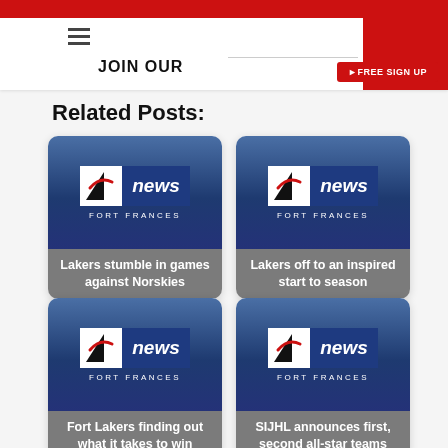JOIN OUR   FREE SIGN UP
Related Posts:
[Figure (screenshot): Fort Frances News logo placeholder card with text: Lakers stumble in games against Norskies]
[Figure (screenshot): Fort Frances News logo placeholder card with text: Lakers off to an inspired start to season]
[Figure (screenshot): Fort Frances News logo placeholder card with text: Fort Lakers finding out what it takes to win]
[Figure (screenshot): Fort Frances News logo placeholder card with text: SIJHL announces first, second all-star teams]